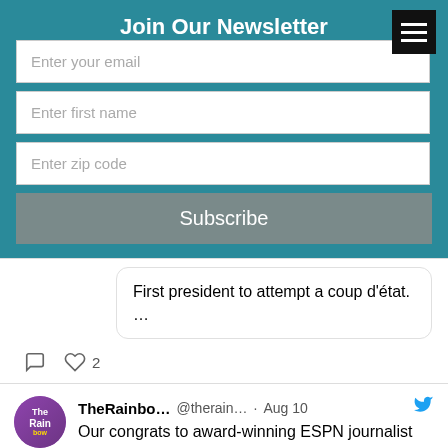Join Our Newsletter
Enter your email
Enter first name
Enter zip code
Subscribe
First president to attempt a coup d'état.
...
TheRainbo... @therain... · Aug 10  Our congrats to award-winning ESPN journalist @MAVoepel for coming out in front of the world. We're here for you and are so glad to see you for who you have always been. #love #LGBT